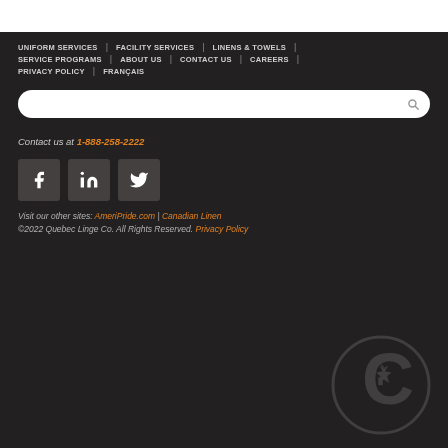UNIFORM SERVICES | FACILITY SERVICES | LINENS & TOWELS |
SERVICE PROGRAMS | ABOUT US | CONTACT US | CAREERS |
PRIVACY POLICY | FRANÇAIS
[Figure (screenshot): Search input bar with magnifying glass icon]
Contact us at 1-888-258-2222
[Figure (infographic): Social media icons: Facebook, LinkedIn, Twitter]
Visit our other sites: AmeriPride.com | Canadian Linen
©2022 Quebec Linge Co. All Rights Reserved. Privacy Policy
[Figure (logo): Canadian Linen C-maple leaf logo watermark, bottom right]